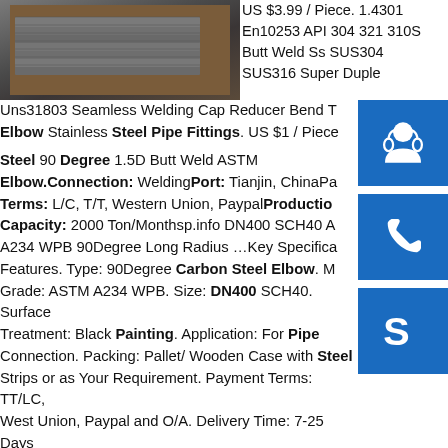[Figure (photo): Stacked dark steel plates/sheets on a surface]
US $3.99 / Piece. 1.4301 En10253 API 304 321 310S Butt Weld Ss SUS304 SUS316 Super Duple Uns31803 Seamless Welding Cap Reducer Bend T Elbow Stainless Steel Pipe Fittings. US $1 / Piece Steel 90 Degree 1.5D Butt Weld ASTM Elbow.Connection: WeldingPort: Tianjin, ChinaPayment Terms: L/C, T/T, Western Union, PaypalProduction Capacity: 2000 Ton/Monthsp.info DN400 SCH40 A234 WPB 90Degree Long Radius …Key Specifications/Features. Type: 90Degree Carbon Steel Elbow. Material Grade: ASTM A234 WPB. Size: DN400 SCH40. Surface Treatment: Black Painting. Application: For Pipe Connection. Packing: Pallet/ Wooden Case with Steel Strips or as Your Requirement. Payment Terms: TT/LC, West Union, Paypal and O/A. Delivery Time: 7-25 Days after Received ...sp.info Page 3 of Pipe Elbow, Pipe Elbows Manufacturer - Pipe ...ASTM A105 Elbows, 45